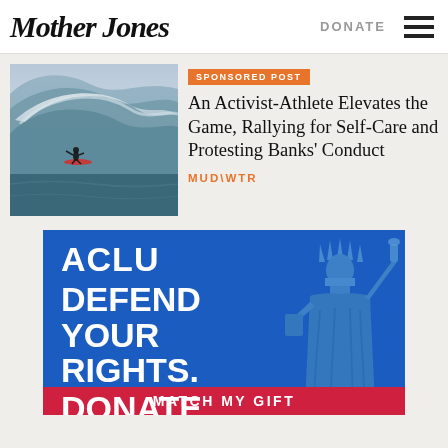Mother Jones | DONATE
SPONSORED POST
An Activist-Athlete Elevates the Game, Rallying for Self-Care and Protesting Banks' Conduct
MUD\WTR
[Figure (photo): Surfer riding a large ocean wave]
[Figure (infographic): ACLU advertisement: DEFEND YOUR RIGHTS. DONATE TODAY. MATCH MY GIFT. Blue background with Statue of Liberty illustration.]